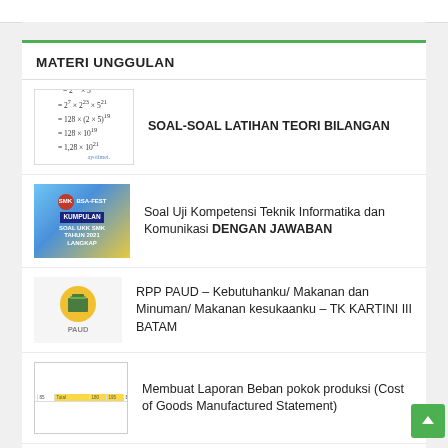MATERI UNGGULAN
SOAL-SOAL LATIHAN TEORI BILANGAN
Soal Uji Kompetensi Teknik Informatika dan Komunikasi DENGAN JAWABAN
RPP PAUD – Kebutuhanku/ Makanan dan Minuman/ Makanan kesukaanku – TK KARTINI III BATAM
Membuat Laporan Beban pokok produksi (Cost of Goods Manufactured Statement)
Cara Mematikan Notifikasi Promo Shopee Dengan Mudah Supaya Tidak Berisik